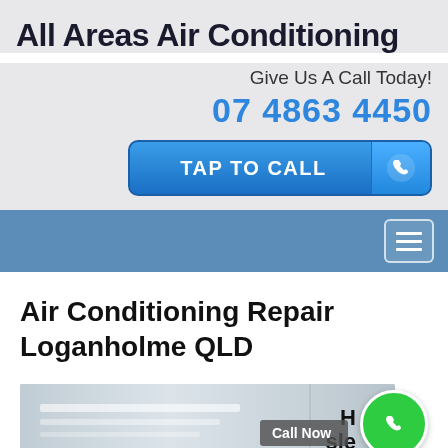All Areas Air Conditioning
Give Us A Call Today!
07 4863 4450
[Figure (screenshot): Blue 'TAP TO CALL' button with phone icon on right side]
[Figure (screenshot): Blue navigation bar with hamburger menu icon on right]
Air Conditioning Repair Loganholme QLD
[Figure (photo): Partial photo of air conditioning unit at bottom of page, with 'Call Now' badge overlay and green phone button]
H
sle